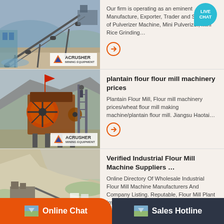[Figure (photo): Mining conveyor belt machinery with ACRUSHER MINING EQUIPMENT logo overlay]
Our firm is operating as an eminent Manufacture, Exporter, Trader and Supplier of Pulverizer Machine, Mini Pulverizer, Mini Rice Grinding...
[Figure (photo): Industrial jaw crusher machinery with orange flywheel, ACRUSHER MINING EQUIPMENT logo overlay]
plantain flour flour mill machinery prices
Plantain Flour Mill, Flour mill machinery prices/wheat flour mill making machine/plantain flour mill. Jiangsu Haotai...
[Figure (photo): Open pit quarry/mining site with ACRUSHER MINING EQUIPMENT logo overlay]
Verified Industrial Flour Mill Machine Suppliers ...
Online Directory Of Wholesale Industrial Flour Mill Machine Manufacturers And Company Listing. Reputable, Flour Mill Plant Importers...
Online Chat
Sales Hotline